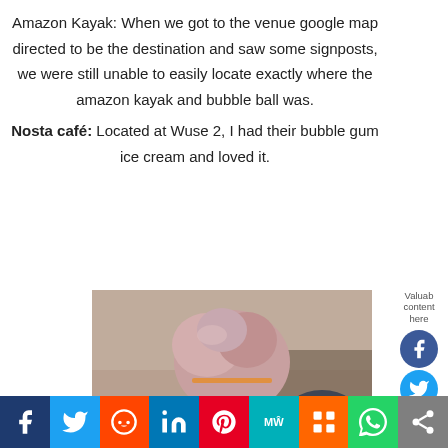Amazon Kayak: When we got to the venue google map directed to be the destination and saw some signposts, we were still unable to easily locate exactly where the amazon kayak and bubble ball was.
Nosta café: Located at Wuse 2, I had their bubble gum ice cream and loved it.
[Figure (photo): A large scoop of bubble gum ice cream on a waffle cone, held against a blurred café background.]
[Figure (infographic): Vertical social media sidebar with Facebook, Twitter, Instagram, LinkedIn icons and 'Valuable content here' label.]
[Figure (infographic): Bottom share bar with icons for Facebook, Twitter, Reddit, LinkedIn, Pinterest, MeWe, Mix, WhatsApp, and share button.]